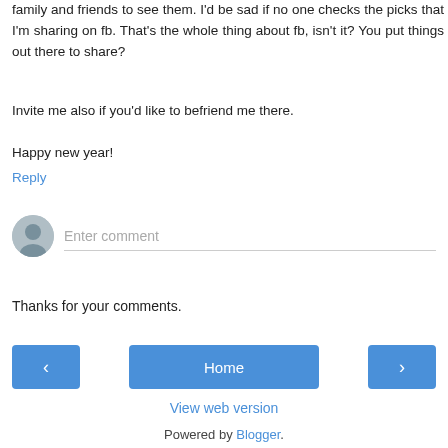family and friends to see them. I'd be sad if no one checks the picks that I'm sharing on fb. That's the whole thing about fb, isn't it? You put things out there to share?
Invite me also if you'd like to befriend me there.
Happy new year!
Reply
Enter comment
Thanks for your comments.
Home
View web version
Powered by Blogger.